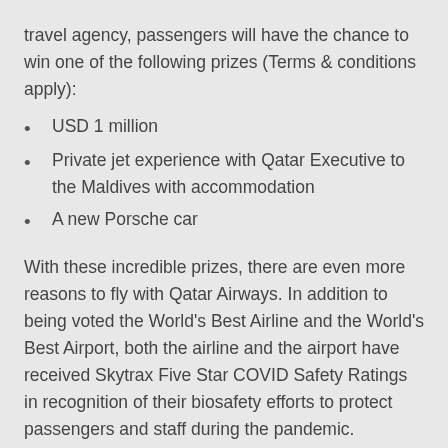travel agency, passengers will have the chance to win one of the following prizes (Terms & conditions apply):
USD 1 million
Private jet experience with Qatar Executive to the Maldives with accommodation
A new Porsche car
With these incredible prizes, there are even more reasons to fly with Qatar Airways. In addition to being voted the World's Best Airline and the World's Best Airport, both the airline and the airport have received Skytrax Five Star COVID Safety Ratings in recognition of their biosafety efforts to protect passengers and staff during the pandemic.
Enter now at qatarairways.com/win. One winner for each prize will be drawn and announced in Feb 2022.
A multiple award-winning airline, Qatar Airways was announced as the 'Airline of the Year' by the international air transport rating...